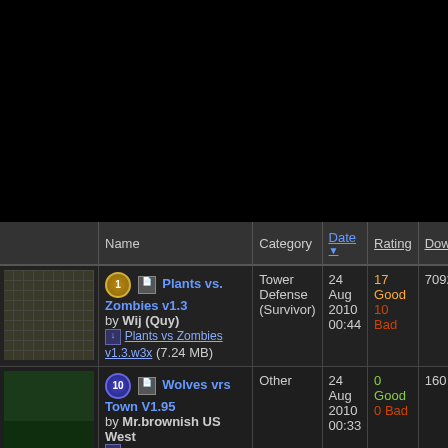|  | Name | Category | Date | Rating | Downloads |
| --- | --- | --- | --- | --- | --- |
| [img] | Plants vs. Zombies v1.3 by Wij (Quy) Plants vs Zombies v1.3.w3x (7.24 MB) | Tower Defense (Survivor) | 24 Aug 2010 00:44 | 17 Good 10 Bad | 7092 |
| [img] | Wolves vrs Town V1.95 by Mr.brownish US West wolves_vs_towns_v1.95.w3x (0.1 MB) | Other | 24 Aug 2010 00:33 | 0 Good 0 Bad | 160 |
| [img] | Escape from Diablo ACT V | Other | 24 Aug 2010 | 1 Good 0 Bad | 252 |